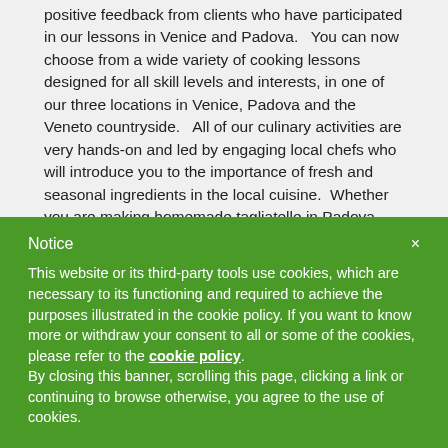positive feedback from clients who have participated in our lessons in Venice and Padova.  You can now choose from a wide variety of cooking lessons designed for all skill levels and interests, in one of our three locations in Venice, Padova and the Veneto countryside.   All of our culinary activities are very hands-on and led by engaging local chefs who will introduce you to the importance of fresh and seasonal ingredients in the local cuisine.  Whether you are making homemade tagliatelle in Padova, seafood risotto in Venice or artisanal desserts and gelato in the countryside, you're sure to have a memorable experience.
Families with young children will enjoy our Kids in the Kitchen, in a relaxed country environment an easy drive from Venice.
Notice
This website or its third-party tools use cookies, which are necessary to its functioning and required to achieve the purposes illustrated in the cookie policy. If you want to know more or withdraw your consent to all or some of the cookies, please refer to the cookie policy. By closing this banner, scrolling this page, clicking a link or continuing to browse otherwise, you agree to the use of cookies.